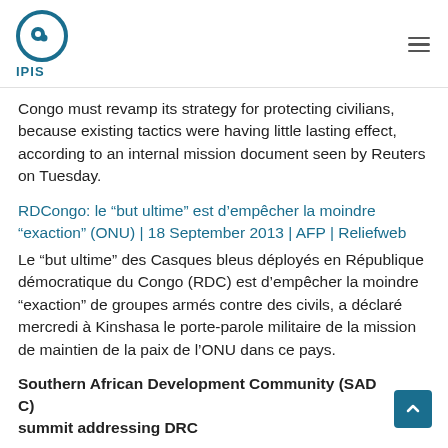IPIS
Congo must revamp its strategy for protecting civilians, because existing tactics were having little lasting effect, according to an internal mission document seen by Reuters on Tuesday.
RDCongo: le “but ultime” est d’empêcher la moindre “exaction” (ONU) | 18 September 2013 | AFP | Reliefweb
Le “but ultime” des Casques bleus dîployés en République démocratique du Congo (RDC) est d’empêcher la moindre “exaction” de groupes armés contre des civils, a déclaré mercredi à Kinshasa le porte-parole militaire de la mission de maintien de la paix de l’ONU dans ce pays.
Southern African Development Community (SADC) summit addressing DRC